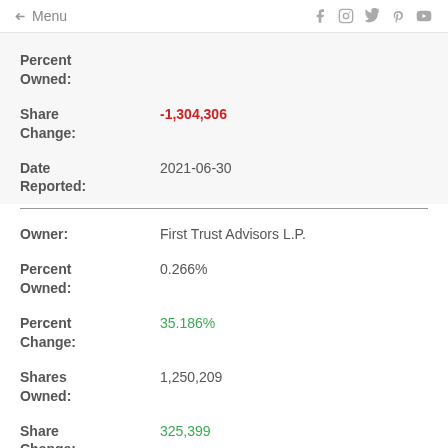← Menu | social icons: f, Instagram, Twitter, Pinterest, YouTube
Percent Owned:
Share Change: -1,304,306
Date Reported: 2021-06-30
Owner: First Trust Advisors L.P.
Percent Owned: 0.266%
Percent Change: 35.186%
Shares Owned: 1,250,209
Share Change: 325,399